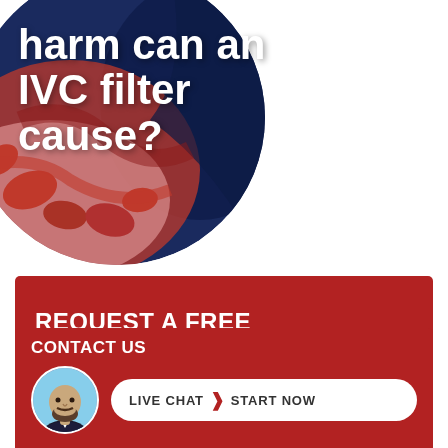[Figure (illustration): Circular medical illustration showing red blood cells with IVC filter imagery, with overlaid white text asking 'harm can an IVC filter cause?']
harm can an IVC filter cause?
REQUEST A FREE CONSULTATION
CONTACT US
[Figure (photo): Circular headshot photo of a bald man with a beard wearing a suit]
LIVE CHAT  START NOW